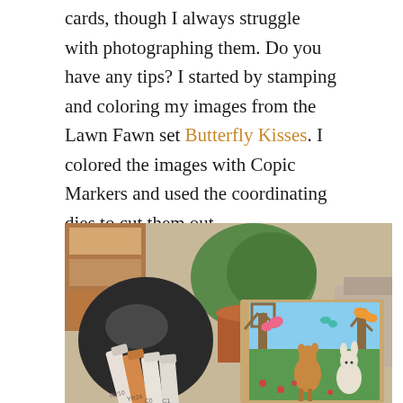cards, though I always struggle with photographing them. Do you have any tips? I started by stamping and coloring my images from the Lawn Fawn set Butterfly Kisses. I colored the images with Copic Markers and used the coordinating dies to cut them out.
[Figure (photo): A photo showing Copic markers (RV10, YR24, C0, C1) in the foreground with a dark sphere/bowl, and a handmade card featuring illustrated animals (deer, bunny, butterflies) in a green outdoor scene in the background, with a terracotta plant pot and indoor setting visible.]